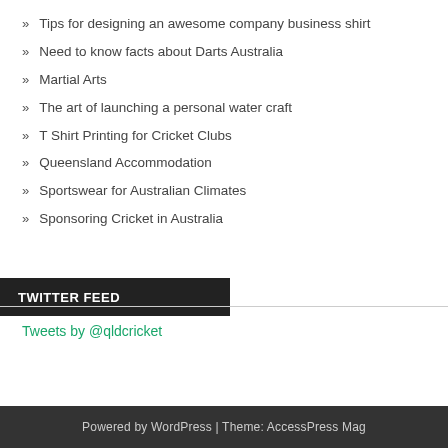Tips for designing an awesome company business shirt
Need to know facts about Darts Australia
Martial Arts
The art of launching a personal water craft
T Shirt Printing for Cricket Clubs
Queensland Accommodation
Sportswear for Australian Climates
Sponsoring Cricket in Australia
TWITTER FEED
Tweets by @qldcricket
Powered by WordPress | Theme: AccessPress Mag